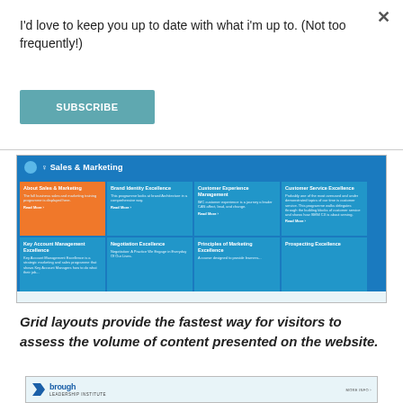I'd love to keep you up to date with what i'm up to. (Not too frequently!)
SUBSCRIBE
[Figure (screenshot): Sales & Marketing course grid layout screenshot showing multiple course tiles in a blue grid including About Sales & Marketing (orange tile), Brand Identity Excellence, Customer Experience Management, Customer Service Excellence, Key Account Management Excellence, Negotiation Excellence, Principles of Marketing Excellence, Prospecting Excellence]
Grid layouts provide the fastest way for visitors to assess the volume of content presented on the website.
[Figure (screenshot): Brough Leadership Institute website screenshot showing logo and navigation]